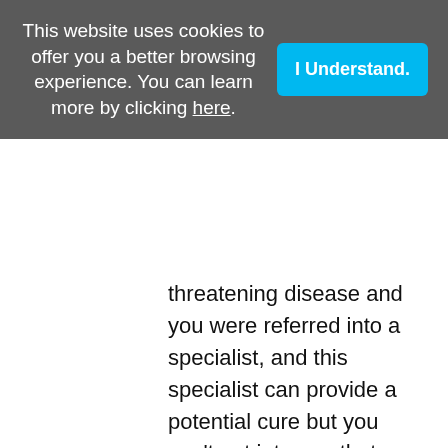This website uses cookies to offer you a better browsing experience. You can learn more by clicking here.
I Understand.
threatening disease and you were referred into a specialist, and this specialist can provide a potential cure but you can't get into see that person for 30 days. Is that going into your appointment book in ink not to be missed?
Dave Mattson: Sure, absolutely. Those are one of those things where you